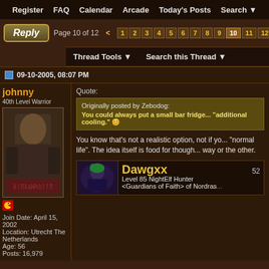Register  FAQ  Calendar  Arcade  Today's Posts  Search
Reply  Page 10 of 12  < 1 2 3 4 5 6 7 8 9 10 11 12
Thread Tools  Search this Thread
09-10-2005, 08:07 PM
johnny
40th Level Warrior
Join Date: April 15, 2002
Location: Utrecht The Netherlands
Age: 56
Posts: 16,979
Quote:
Originally posted by Zebodog:
You could always put a small bar frid... "additional cooling."

You know that's not a realistic option, not if yo... "normal life". The idea itself is food for though... way or the other.
Dawgxx  52
Level 85 NightElf Hunter
<Guardians of Faith> of Nordras...